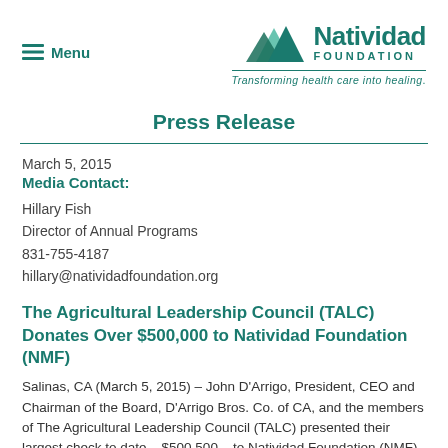[Figure (logo): Natividad Foundation logo with mountain icon and tagline 'Transforming health care into healing.']
Press Release
March 5, 2015
Media Contact:
Hillary Fish
Director of Annual Programs
831-755-4187
hillary@natividadfoundation.org
The Agricultural Leadership Council (TALC) Donates Over $500,000 to Natividad Foundation (NMF)
Salinas, CA (March 5, 2015) – John D'Arrigo, President, CEO and Chairman of the Board, D'Arrigo Bros. Co. of CA, and the members of The Agricultural Leadership Council (TALC) presented their largest check to date – $500,500 – to Natividad Foundation (NMF) at their Annual Donor...